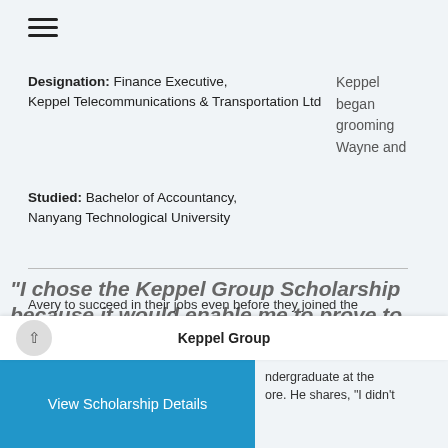[Figure (other): Hamburger menu icon (three horizontal lines)]
Designation: Finance Executive, Keppel Telecommunications & Transportation Ltd
Keppel began grooming Wayne and
Studied: Bachelor of Accountancy, Nanyang Technological University
"I chose the Keppel Group Scholarship because it would enable me to prove to others that I could still be a successful finance professional even with a commercial background."
Avery to succeed in their jobs even before they joined the
Keppel Group
undergraduate at the
ore. He shares, "I didn't
View Scholarship Details